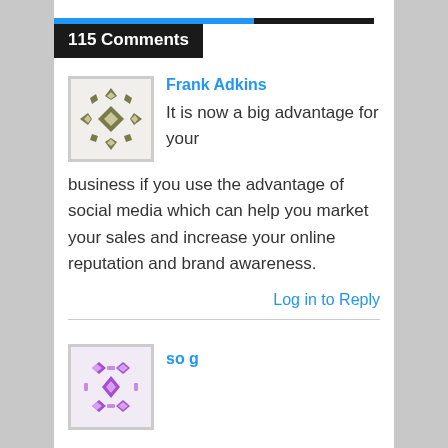115 Comments
[Figure (illustration): Avatar/gravatar image for Frank Adkins — geometric pattern with olive/dark green diamond and arrow shapes on light background]
Frank Adkins
It is now a big advantage for your business if you use the advantage of social media which can help you market your sales and increase your online reputation and brand awareness.
Log in to Reply
[Figure (illustration): Avatar/gravatar image for 'so g' — geometric pattern with purple/violet diamond shapes on light background]
so g